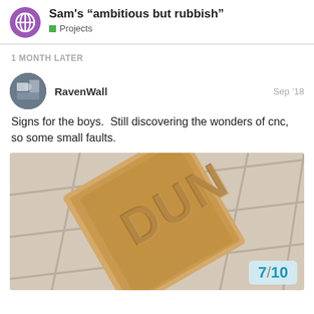Sam's “ambitious but rubbish” — Projects
1 MONTH LATER
RavenWall — Sep '18
Signs for the boys. Still discovering the wonders of cnc, so some small faults.
[Figure (photo): A wooden sign being CNC-routed, showing carved letters on a light wood piece placed on a tiled floor. The visible letters appear to spell 'DUNN' or similar, carved in relief.]
7 / 10